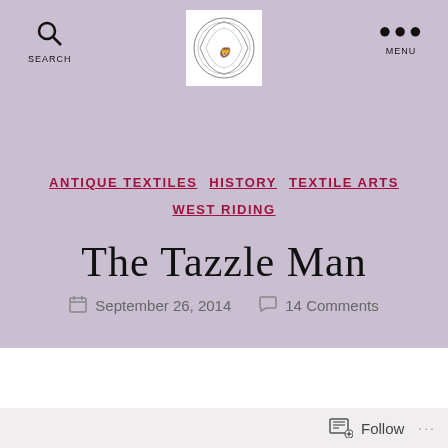SEARCH | [Logo] | MENU
ANTIQUE TEXTILES  HISTORY  TEXTILE ARTS  WEST RIDING
The Tazzle Man
September 26, 2014   14 Comments